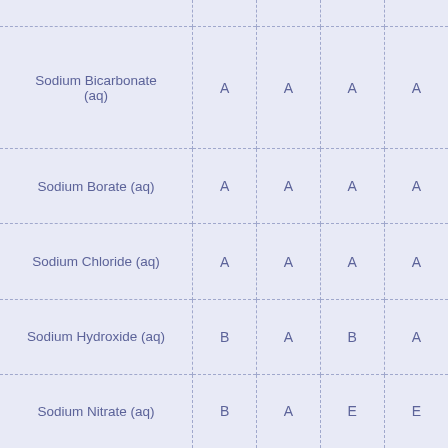|  |  |  |  |  |
| --- | --- | --- | --- | --- |
|  |  |  |  |  |
| Sodium Bicarbonate (aq) | A | A | A | A |
| Sodium Borate (aq) | A | A | A | A |
| Sodium Chloride (aq) | A | A | A | A |
| Sodium Hydroxide (aq) | B | A | B | A |
| Sodium Nitrate (aq) | B | A | E | E |